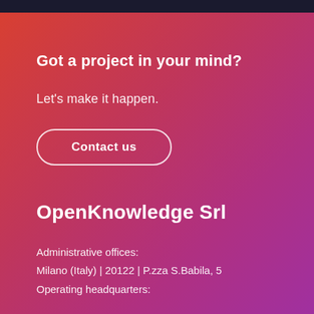Got a project in your mind?
Let's make it happen.
Contact us
OpenKnowledge Srl
Administrative offices:
Milano (Italy) | 20122 | P.zza S.Babila, 5
Operating headquarters: